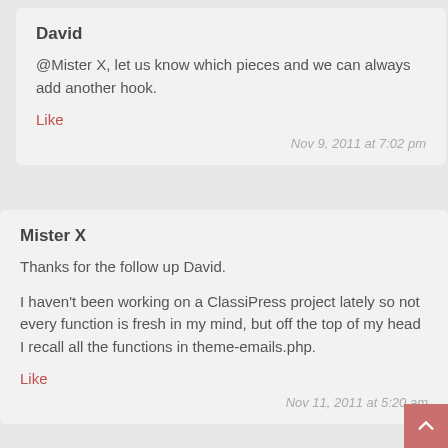David
@Mister X, let us know which pieces and we can always add another hook.
Like
Nov 9, 2011 at 7:02 pm
Mister X
Thanks for the follow up David.
I haven't been working on a ClassiPress project lately so not every function is fresh in my mind, but off the top of my head I recall all the functions in theme-emails.php.
Like
Nov 11, 2011 at 5:20 am